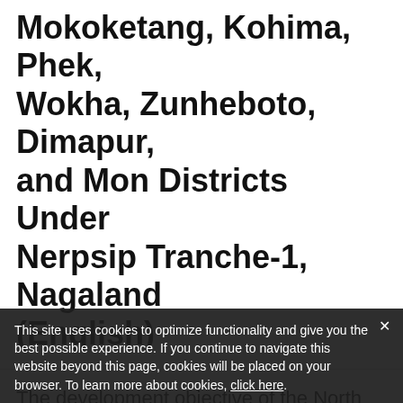Mokoketang, Kohima, Phek, Wokha, Zunheboto, Dimapur, and Mon Districts Under Nerpsip Tranche-1, Nagaland (English)
The development objective of the North Eastern Region Power System Improvement Program is to improve the availability of electricity supply through expansion and rehabilitation of power systems in the participating states in the North Eastern
This site uses cookies to optimize functionality and give you the best possible experience. If you continue to navigate this website beyond this page, cookies will be placed on your browser. To learn more about cookies, click here.